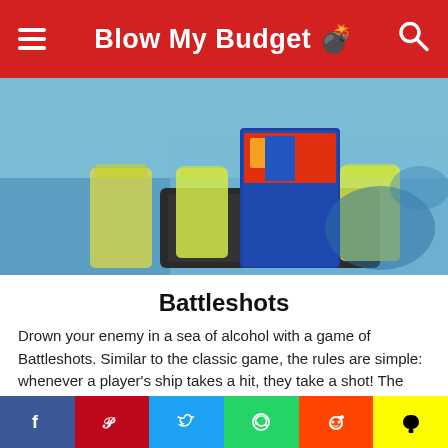Blow My Budget 💣
[Figure (photo): Photo of Battleshots board game with yellow drinks/shots in glasses on a blue surface]
Battleshots
Drown your enemy in a sea of alcohol with a game of Battleshots. Similar to the classic game, the rules are simple: whenever a player's ship takes a hit, they take a shot! The only board game where everyone is a winner.
$55.00
Check it out